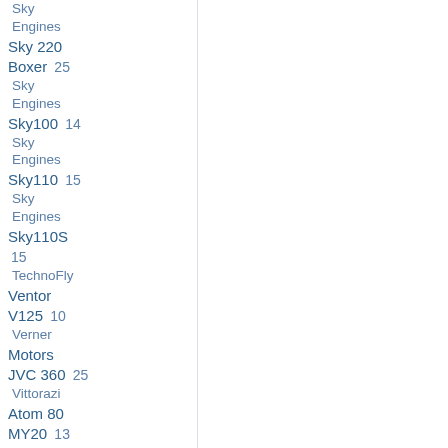Sky Engines Sky 220 Boxer 25
Sky Engines Sky100 14
Sky Engines Sky110 15
Sky Engines Sky110S 15
TechnoFly Ventor V125 10
Verner Motors JVC 360 25
Vittorazi Atom 80 MY20 13
Vittorazi